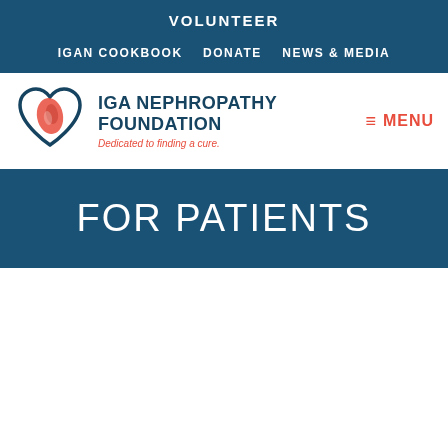VOLUNTEER
IGAN COOKBOOK   DONATE   NEWS & MEDIA
[Figure (logo): IGA Nephropathy Foundation logo: heart shape with kidney inside, dark blue outline with red kidney fill]
IGA NEPHROPATHY FOUNDATION
Dedicated to finding a cure.
≡ MENU
FOR PATIENTS